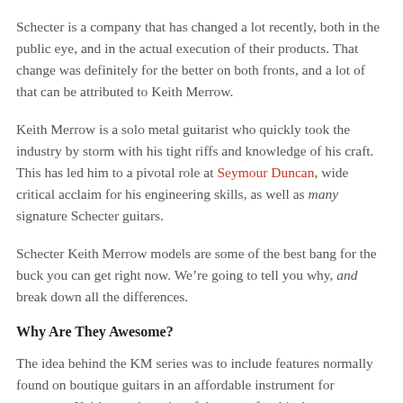Schecter is a company that has changed a lot recently, both in the public eye, and in the actual execution of their products. That change was definitely for the better on both fronts, and a lot of that can be attributed to Keith Merrow.
Keith Merrow is a solo metal guitarist who quickly took the industry by storm with his tight riffs and knowledge of his craft. This has led him to a pivotal role at Seymour Duncan, wide critical acclaim for his engineering skills, as well as many signature Schecter guitars.
Schecter Keith Merrow models are some of the best bang for the buck you can get right now. We’re going to tell you why, and break down all the differences.
Why Are They Awesome?
The idea behind the KM series was to include features normally found on boutique guitars in an affordable instrument for everyone. Keith was the point of the spear for this, because not